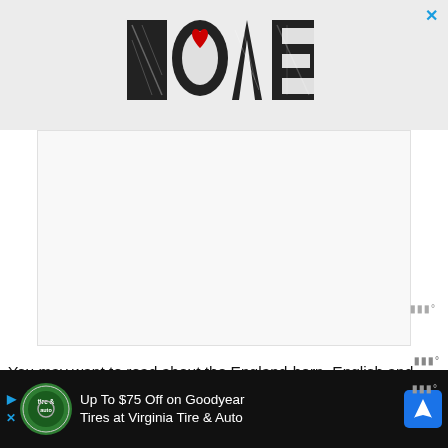[Figure (illustration): LOVE logo in decorative black and white illustrated lettering style, with a red heart accent on the 'O'. Shown inside a light gray advertisement banner with a blue X close button in the top right.]
You may want to read about the England-born, English and American actor Cooper Barnes: Personal Life, Career & Net Worth.
[Figure (illustration): Bottom advertisement banner with black background. Shows Tire & Auto logo (green circle), text 'Up To $75 Off on Goodyear Tires at Virginia Tire & Auto', a blue navigation/directions icon, and a Moat watermark. Skip arrows on the left side.]